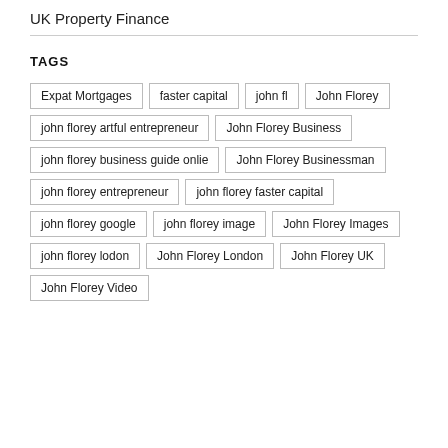UK Property Finance
TAGS
Expat Mortgages
faster capital
john fl
John Florey
john florey artful entrepreneur
John Florey Business
john florey business guide onlie
John Florey Businessman
john florey entrepreneur
john florey faster capital
john florey google
john florey image
John Florey Images
john florey lodon
John Florey London
John Florey UK
John Florey Video